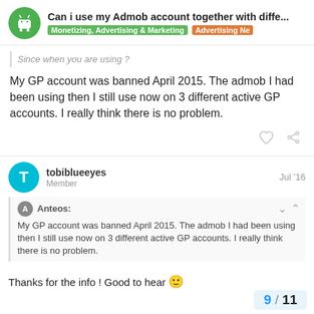Can i use my Admob account together with diffe... | Monetizing, Advertising & Marketing | Advertising Ne
Since when you are using ?
My GP account was banned April 2015. The admob I had been using then I still use now on 3 different active GP accounts. I really think there is no problem.
tobiblueeyes Member Jul '16
Anteos: My GP account was banned April 2015. The admob I had been using then I still use now on 3 different active GP accounts. I really think there is no problem.
Thanks for the info ! Good to hear
9 / 11